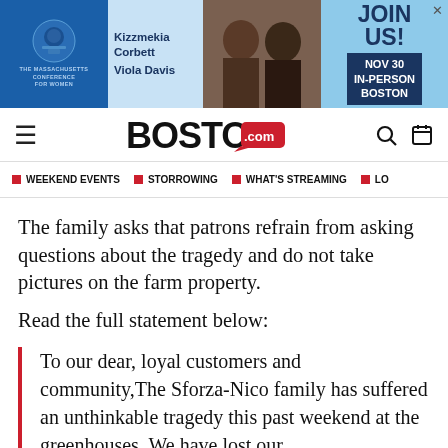[Figure (other): Advertisement banner for The Massachusetts Conference for Women featuring Kizzmekia Corbett and Viola Davis, with 'JOIN US! NOV 30 IN-PERSON BOSTON' text]
BOSTON.com
WEEKEND EVENTS  STORROWING  WHAT'S STREAMING  LO...
The family asks that patrons refrain from asking questions about the tragedy and do not take pictures on the farm property.
Read the full statement below:
To our dear, loyal customers and community,The Sforza-Nico family has suffered an unthinkable tragedy this past weekend at the greenhouses. We have lost our